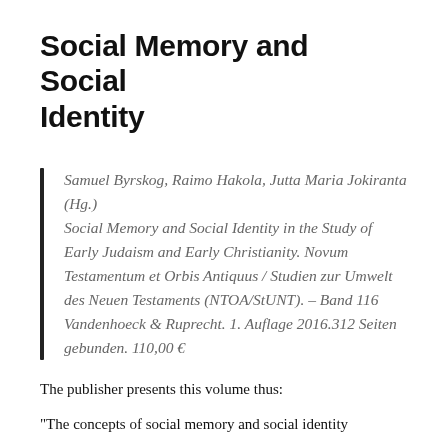Social Memory and Social Identity
Samuel Byrskog, Raimo Hakola, Jutta Maria Jokiranta (Hg.) Social Memory and Social Identity in the Study of Early Judaism and Early Christianity. Novum Testamentum et Orbis Antiquus / Studien zur Umwelt des Neuen Testaments (NTOA/StUNT). – Band 116 Vandenhoeck & Ruprecht. 1. Auflage 2016.312 Seiten gebunden. 110,00 €
The publisher presents this volume thus:
"The concepts of social memory and social identity